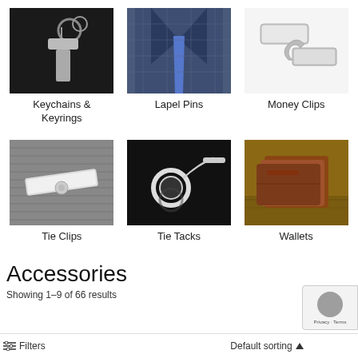[Figure (photo): Keychain with metal tag and rings on dark background]
[Figure (photo): Person wearing a blue plaid suit with blue tie]
[Figure (photo): Silver money clips on white background]
Keychains & Keyrings
Lapel Pins
Money Clips
[Figure (photo): Silver tie clip on grey fabric]
[Figure (photo): Tie tack with chain on black background]
[Figure (photo): Brown leather wallets stacked on wooden surface]
Tie Clips
Tie Tacks
Wallets
Accessories
Showing 1–9 of 66 results